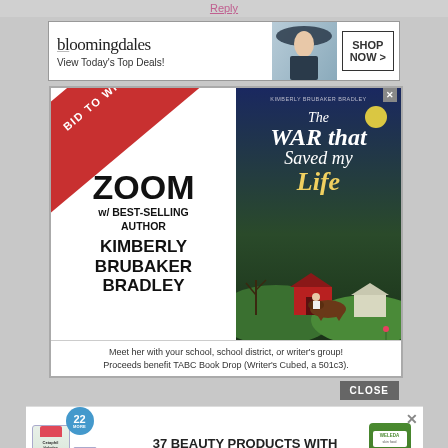Reply
[Figure (advertisement): Bloomingdales banner ad: logo text 'bloomingdales', tagline 'View Today's Top Deals!', model with hat, 'SHOP NOW >' button]
[Figure (advertisement): Zoom with best-selling author Kimberly Brubaker Bradley ad. Red diagonal 'BID TO WIN!' banner. Book cover 'The War that Saved My Life'. Bottom text: 'Meet her with your school, school district, or writer's group! Proceeds benefit TABC Book Drop (Writer's Cubed, a 501c3).']
[Figure (advertisement): 37 beauty products ad with Cetaphil and Weleda products, badge '22 MORE', text '37 BEAUTY PRODUCTS WITH SUCH GOOD REVIEWS YOU MIGHT WANT TO TRY THEM YOURSELF']